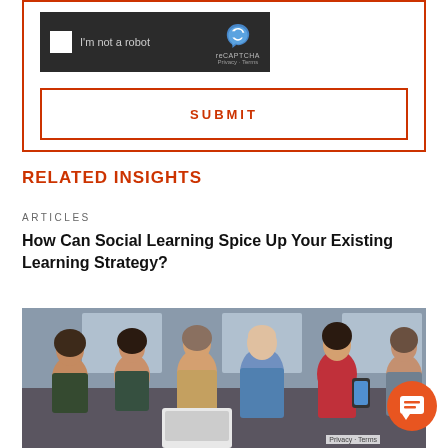[Figure (screenshot): reCAPTCHA widget with 'I'm not a robot' checkbox on dark background with reCAPTCHA logo]
[Figure (other): SUBMIT button with orange/red border on white background]
RELATED INSIGHTS
ARTICLES
How Can Social Learning Spice Up Your Existing Learning Strategy?
[Figure (photo): Group of diverse people sitting together looking at laptops, tablets, and smartphones, smiling and engaged]
[Figure (other): Orange chat bubble icon in bottom right corner]
Privacy · Terms